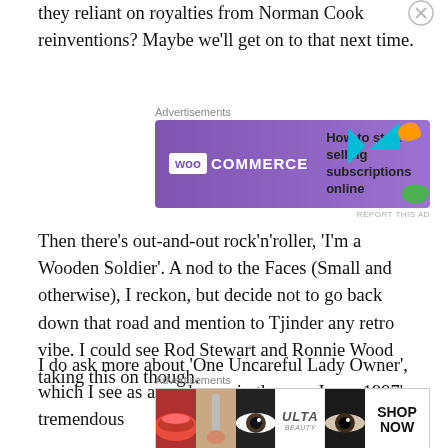they reliant on royalties from Norman Cook reinventions? Maybe we'll get on to that next time.
[Figure (other): WooCommerce advertisement banner: purple background with WooCommerce logo and text 'How to start selling subscriptions online' with teal, orange, and green decorative shapes]
Then there's out-and-out rock'n'roller, 'I'm a Wooden Soldier'. A nod to the Faces (Small and otherwise), I reckon, but decide not to go back down that road and mention to Tjinder any retro vibe. I could see Rod Stewart and Ronnie Wood taking this on though.
I do ask more about 'One Uncareful Lady Owner', which I see as a road song in the way I saw 1997's tremendous
[Figure (other): ULTA beauty advertisement banner showing close-up images of women's lips and eyes, with ULTA logo and 'SHOP NOW' text]